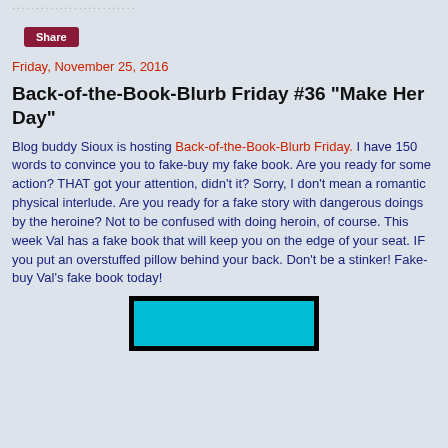.....................
Share
Friday, November 25, 2016
Back-of-the-Book-Blurb Friday #36 "Make Her Day"
Blog buddy Sioux is hosting Back-of-the-Book-Blurb Friday. I have 150 words to convince you to fake-buy my fake book. Are you ready for some action? THAT got your attention, didn't it? Sorry, I don't mean a romantic physical interlude. Are you ready for a fake story with dangerous doings by the heroine? Not to be confused with doing heroin, of course. This week Val has a fake book that will keep you on the edge of your seat. IF you put an overstuffed pillow behind your back. Don't be a stinker! Fake-buy Val's fake book today!
[Figure (photo): Partial view of a book cover image with black border and teal/cyan background with partial text and figure visible at bottom of page]